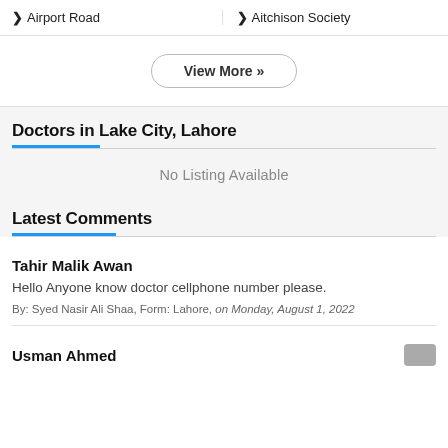> Airport Road
> Aitchison Society
View More »
Doctors in Lake City, Lahore
No Listing Available
Latest Comments
Tahir Malik Awan
Hello Anyone know doctor cellphone number please.
By: Syed Nasir Ali Shaa, Form: Lahore, on Monday, August 1, 2022
Usman Ahmed